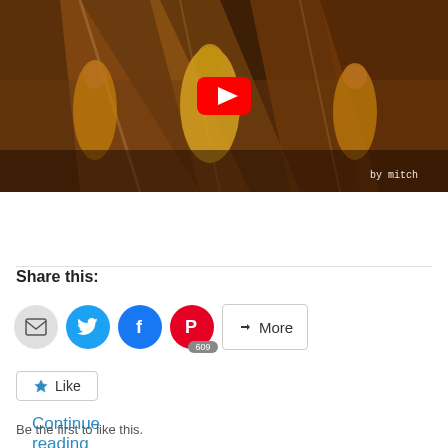[Figure (screenshot): YouTube video thumbnail showing a concert performance with performers in gold outfits on stage with stage lighting. A red YouTube play button is overlaid in the center. Text 'by mitch' appears in white in the bottom right corner.]
Continue reading →
Share this:
[Figure (infographic): Social share buttons: email (grey circle), Twitter (blue circle with bird icon), Facebook (dark blue circle with F icon), Pinterest (red circle with P icon and 609 count badge), and a More button.]
[Figure (infographic): Like button with star icon and text 'Like'. Below: 'Be the first to like this.']
Be the first to like this.